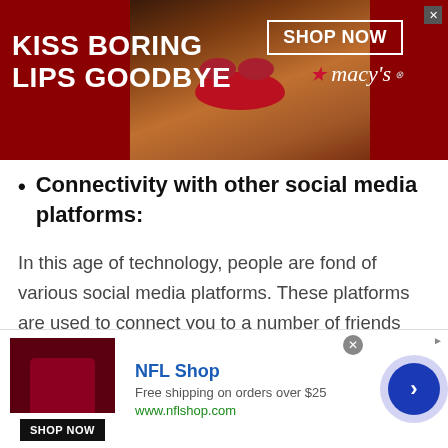[Figure (photo): Macy's advertisement banner with dark red background, woman's face with red lips in center, text 'KISS BORING LIPS GOODBYE' on left, 'SHOP NOW' button and Macy's star logo on right]
Connectivity with other social media platforms:
In this age of technology, people are fond of various social media platforms. These platforms are used to connect you to a number of friends and family members. People also use these platforms to expand their social circle. There are other members of social media sites too whom you find interesting and want to be friends with. You might also want to get connected to these friends for chatting or
[Figure (screenshot): NFL Shop advertisement with red product image, 'NFL Shop' title, 'Free shipping on orders over $25', 'www.nflshop.com', 'SHOP NOW' button, and circular arrow navigation button]